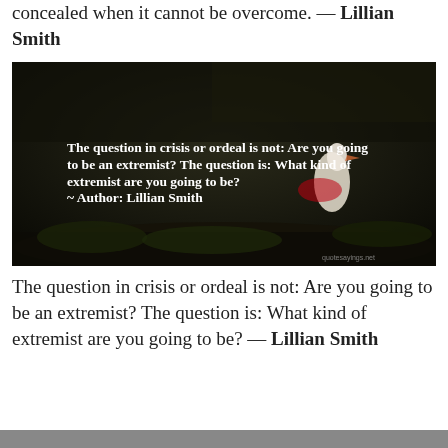concealed when it cannot be overcome. — Lillian Smith
[Figure (photo): Dark nature photo with a stork in a nest, overlaid with white serif text quote: 'The question in crisis or ordeal is not: Are you going to be an extremist? The question is: What kind of extremist are you going to be? ~ Author: Lillian Smith'. Watermark 'quotesayings.net' in bottom right.]
The question in crisis or ordeal is not: Are you going to be an extremist? The question is: What kind of extremist are you going to be? — Lillian Smith